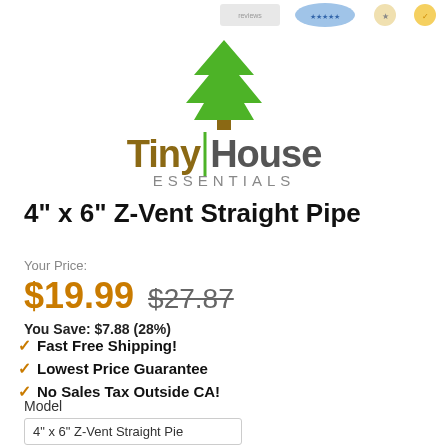[Figure (logo): Tiny House Essentials logo with green pine tree and stylized brand name]
4" x 6" Z-Vent Straight Pipe
Your Price:
$19.99  $27.87
You Save: $7.88 (28%)
Fast Free Shipping!
Lowest Price Guarantee
No Sales Tax Outside CA!
Model
4" x 6" Z-Vent Straight Pipe